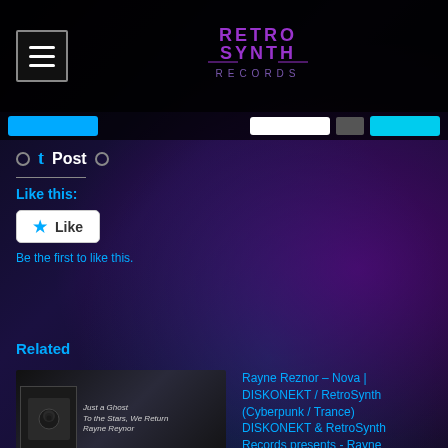[Figure (logo): Retro Synth Records logo in purple/magenta retro style text]
Post
Like this:
Like
Be the first to like this.
Related
[Figure (photo): Album cover for 'Just a Ghost - To The Stars We Return' by Rayne Reynor, showing a dark forest scene with a figure]
Rayne Reznor & To The Stars We Return – Just a
Rayne Reznor – Nova | DISKONEKT / RetroSynth (Cyberpunk / Trance) DISKONEKT & RetroSynth Records presents - Rayne Reznor - Nova #Cyberpunk #Trance